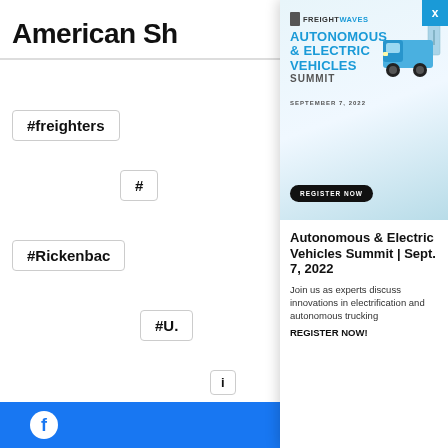American Sh
#freighters
#
#Rickenbac
#U.
i
[Figure (screenshot): FreightWaves Autonomous & Electric Vehicles Summit advertisement banner with blue gradient, EV truck illustration, date September 7 2022, and REGISTER NOW button]
Autonomous & Electric Vehicles Summit | Sept. 7, 2022
Join us as experts discuss innovations in electrification and autonomous trucking
REGISTER NOW!